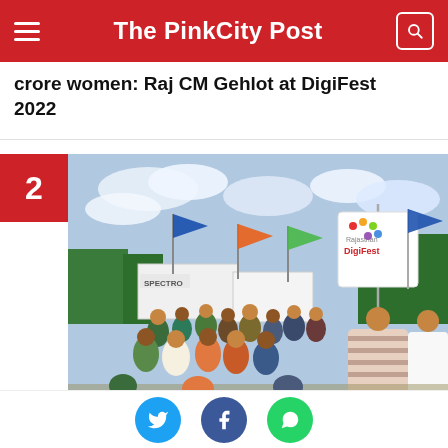The PinkCity Post
crore women: Raj CM Gehlot at DigiFest 2022
[Figure (photo): Crowd of people attending Rajasthan DigiFest 2022 outdoor event with colorful flags and banners including Rajasthan DigiFest signage and Spectro branding]
Rajasthan DigiFest 2022 kicks off; Here is how to participate...